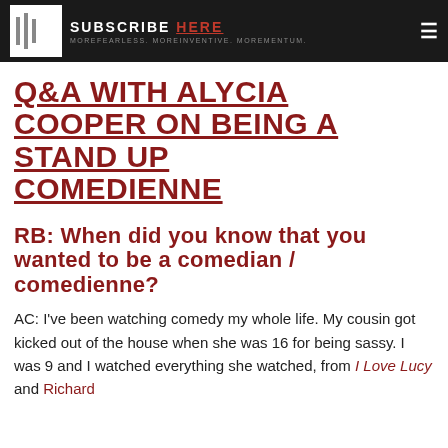SUBSCRIBE HERE — MOREFEARLESS. MOREINVENTIVE. MOREMENTUM.
Q&A WITH ALYCIA COOPER ON BEING A STAND UP COMEDIENNE
RB: When did you know that you wanted to be a comedian / comedienne?
AC: I've been watching comedy my whole life. My cousin got kicked out of the house when she was 16 for being sassy. I was 9 and I watched everything she watched, from I Love Lucy and Richard